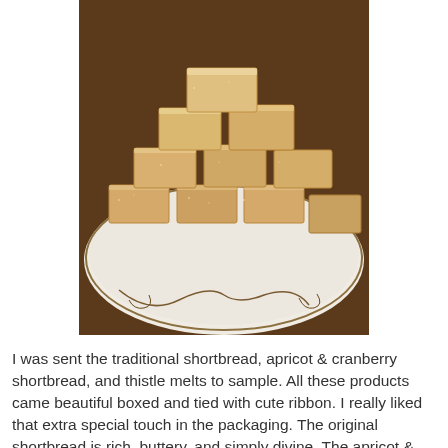[Figure (photo): A plate of square shortbread pieces dusted with sugar, stacked on a decorative white plate with floral/scroll design, on a wooden surface.]
I was sent the traditional shortbread, apricot & cranberry shortbread, and thistle melts to sample. All these products came beautiful boxed and tied with cute ribbon. I really liked that extra special touch in the packaging. The original shortbread is rich, buttery, and simply divine. The apricot & cranberry shortbread may honestly be the most amazing thing I've ever put in my mouth. After tasting it, I hid it from the rest of the family and refused to share! The thistle melts are know in Scotland as tablet. They are rich, buttery, caramel tasting squares of sugary bliss. They are incredibly rich and creamy. I advise taking